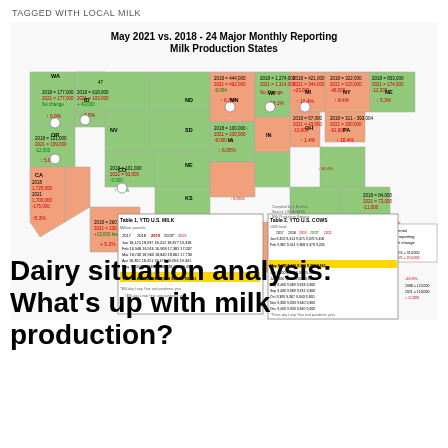TAGGED WITH LOCAL MILK
[Figure (map): US map showing May 2021 vs. 2018 - 24 Major Monthly Reporting Milk Production States, with tables showing YTD U.S. Milk and YTD U.S. Cows data. States are color-coded green (increase) and salmon/orange (decrease). Includes two inset data tables with monthly milk production and cow numbers by year.]
Dairy situation analysis: What’s up with milk production?